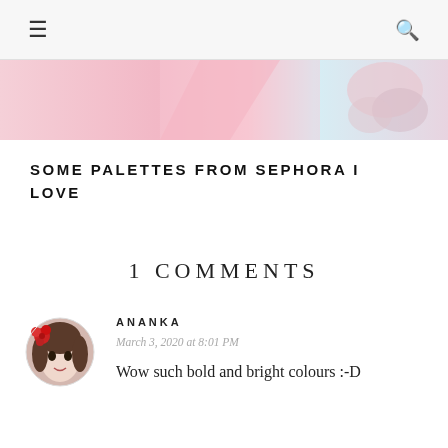≡  🔍
[Figure (photo): Banner image with pink and pastel colors, showing abstract soft pastel background with decorative floral elements on the right side]
SOME PALETTES FROM SEPHORA I LOVE
1 COMMENTS
[Figure (photo): Circular avatar of a person with a red flower in hair, illustrated/painted style]
ANANKA
March 3, 2020 at 8:01 PM
Wow such bold and bright colours :-D